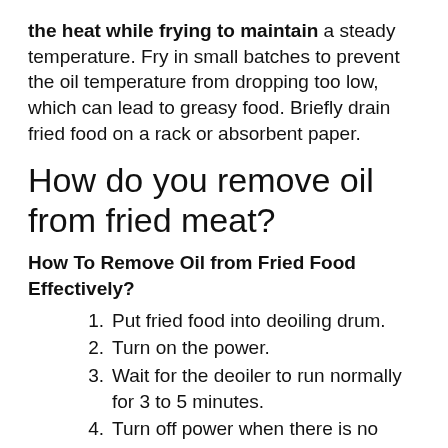the heat while frying to maintain a steady temperature. Fry in small batches to prevent the oil temperature from dropping too low, which can lead to greasy food. Briefly drain fried food on a rack or absorbent paper.
How do you remove oil from fried meat?
How To Remove Oil from Fried Food Effectively?
Put fried food into deoiling drum.
Turn on the power.
Wait for the deoiler to run normally for 3 to 5 minutes.
Turn off power when there is no...